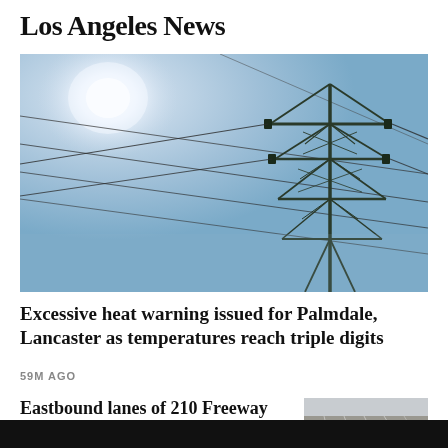Los Angeles News
[Figure (photo): Power transmission line tower photographed from below against a bright blue sky with sun glare in upper left. High-voltage electrical pylon structure visible on the right with cables stretching across the frame.]
Excessive heat warning issued for Palmdale, Lancaster as temperatures reach triple digits
59M AGO
Eastbound lanes of 210 Freeway still closed f...
[Figure (photo): Aerial view of a multi-lane freeway with traffic.]